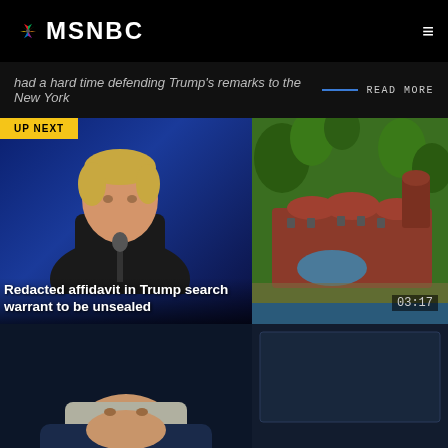MSNBC
had a hard time defending Trump's remarks to the New York
READ MORE
[Figure (screenshot): Video thumbnail showing Donald Trump speaking at a podium with blue background, with UP NEXT badge in top left]
[Figure (screenshot): Aerial photo of Mar-a-Lago estate with red tile roofs and green grounds]
Redacted affidavit in Trump search warrant to be unsealed
03:17
[Figure (screenshot): Video thumbnail showing a man in suit, lower portion of face visible, dark blue background]
[Figure (screenshot): Dark video thumbnail with blue tint, partially visible content]